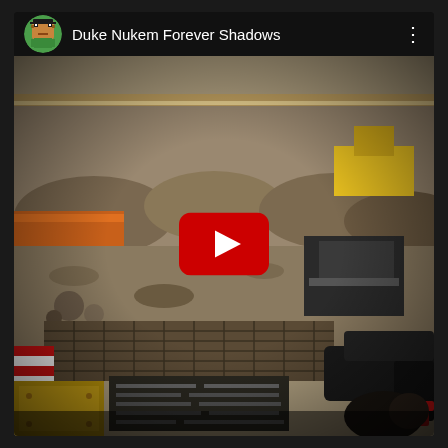[Figure (screenshot): YouTube video card showing 'Duke Nukem Forever Shadows' with a pixel-art avatar icon on the left, channel name text, three-dot menu on the right, and a video thumbnail showing a first-person shooter game scene (construction site with dirt mounds, a gun in the foreground) with a large red YouTube play button overlay in the center.]